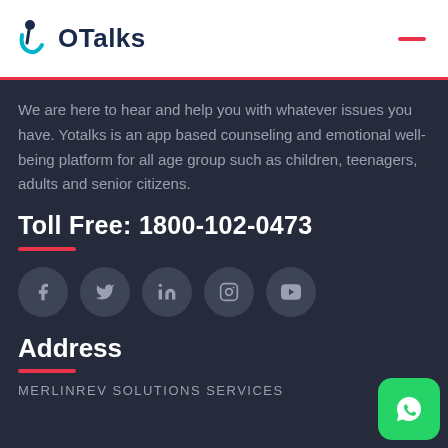[Figure (logo): YoTalks logo with stylized person icon in blue and teal, and text 'YoTalks']
We are here to hear and help you with whatever issues you have. Yotalks is an app based counseling and emotional well-being platform for all age group such as children, teenagers, adults and senior citizens.
Toll Free: 1800-102-0473
[Figure (infographic): Social media icons row: Facebook, Twitter, LinkedIn, Instagram, YouTube — dark gray circles with gray icons]
Address
MERLINREV SOLUTIONS SERVICES